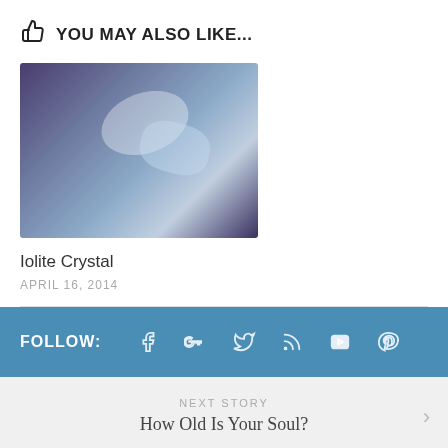YOU MAY ALSO LIKE...
[Figure (photo): A polished iolite crystal stone with purple-blue and grey hues, oval/egg-shaped, photographed on a white background]
Iolite Crystal
APRIL 16, 2014
FOLLOW:
[Figure (infographic): Social media follow icons: Facebook, Google+, Twitter, RSS, YouTube, Pinterest — white icons on blue bar]
NEXT STORY
How Old Is Your Soul?